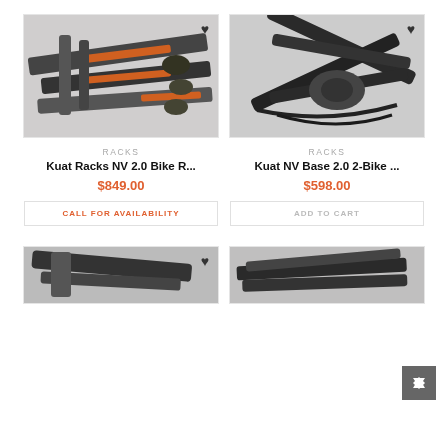[Figure (photo): Kuat Racks NV 2.0 bike rack product photo - close-up of black bike rack with orange accents]
[Figure (photo): Kuat NV Base 2.0 2-Bike rack product photo - close-up of black folded bike rack]
RACKS
Kuat Racks NV 2.0 Bike R...
$849.00
CALL FOR AVAILABILITY
RACKS
Kuat NV Base 2.0 2-Bike ...
$598.00
ADD TO CART
[Figure (photo): Bike rack product photo - partial view at bottom left]
[Figure (photo): Bike rack product photo - partial view at bottom right]